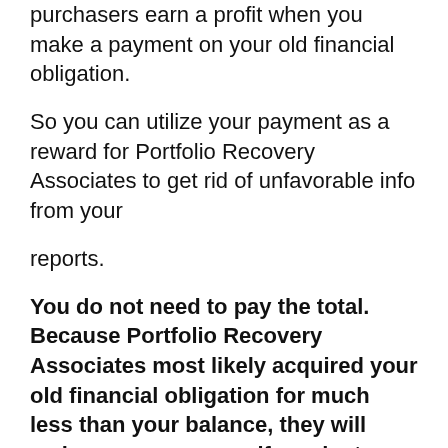purchasers earn a profit when you make a payment on your old financial obligation.
So you can utilize your payment as a reward for Portfolio Recovery Associates to get rid of unfavorable info from your
reports.
You do not need to pay the total. Because Portfolio Recovery Associates most likely acquired your old financial obligation for much less than your balance, they will make a revenue even if you just pay half the balance. And even less. I would begin by providing to pay 50% of what you owe. It can begin a discussion that